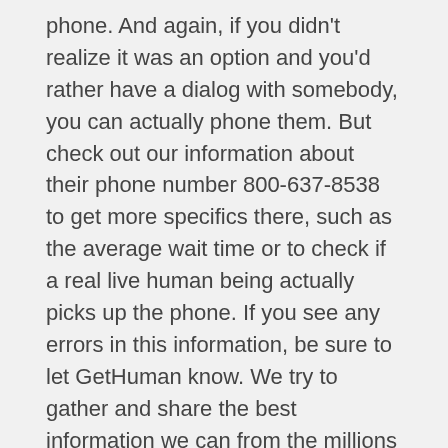phone. And again, if you didn't realize it was an option and you'd rather have a dialog with somebody, you can actually phone them. But check out our information about their phone number 800-637-8538 to get more specifics there, such as the average wait time or to check if a real live human being actually picks up the phone. If you see any errors in this information, be sure to let GetHuman know. We try to gather and share the best information we can from the millions of customers that visit every month and tell us about their experiences with companies like Carnation Hot Chocolate.
Do Carnation Hot Chocolate and GetHuman work together?